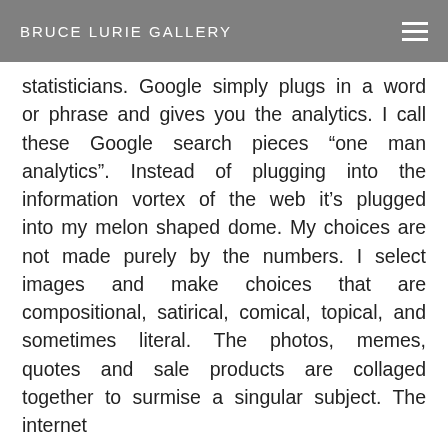BRUCE LURIE GALLERY
statisticians. Google simply plugs in a word or phrase and gives you the analytics. I call these Google search pieces “one man analytics”. Instead of plugging into the information vortex of the web it’s plugged into my melon shaped dome. My choices are not made purely by the numbers. I select images and make choices that are compositional, satirical, comical, topical, and sometimes literal. The photos, memes, quotes and sale products are collaged together to surmise a singular subject. The internet